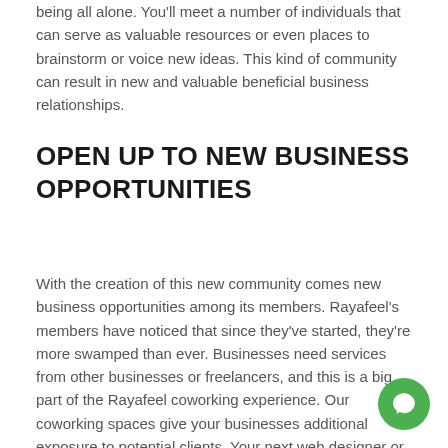being all alone. You'll meet a number of individuals that can serve as valuable resources or even places to brainstorm or voice new ideas. This kind of community can result in new and valuable beneficial business relationships.
OPEN UP TO NEW BUSINESS OPPORTUNITIES
With the creation of this new community comes new business opportunities among its members. Rayafeel's members have noticed that since they've started, they're more swamped than ever. Businesses need services from other businesses or freelancers, and this is a big part of the Rayafeel coworking experience. Our coworking spaces give your businesses additional exposure to potential clients. Your next web designer or finance manager could soon be sitting in the desk next to you – you just don't know it yet!